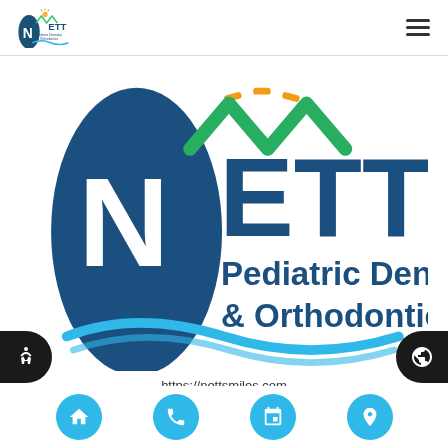[Figure (logo): NETT Pediatric Dentistry & Orthodontics small logo in header]
[Figure (logo): NETT Pediatric Dentistry & Orthodontics large logo with dark blue oval N, mountain/wave design, and text]
https://nettsmiles.com
ABOUT
[Figure (infographic): Bottom navigation bar with four circular blue buttons: home, phone, calendar, location icons. Side accessibility button on left, globe/language button on right.]